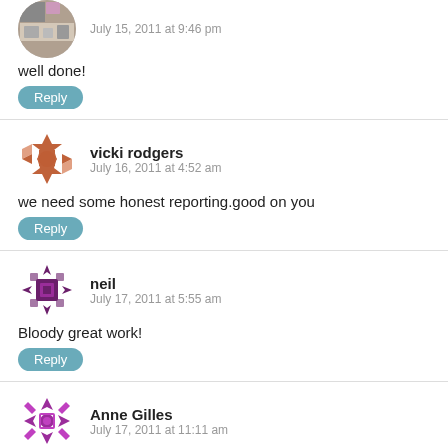[Figure (photo): Partial avatar photo of first commenter (photo of indoor scene)]
July 15, 2011 at 9:46 pm
well done!
Reply
[Figure (illustration): Geometric orange/red decorative avatar icon for vicki rodgers]
vicki rodgers
July 16, 2011 at 4:52 am
we need some honest reporting.good on you
Reply
[Figure (illustration): Geometric purple/dark decorative avatar icon for neil]
neil
July 17, 2011 at 5:55 am
Bloody great work!
Reply
[Figure (illustration): Geometric purple/magenta decorative avatar icon for Anne Gilles]
Anne Gilles
July 17, 2011 at 11:11 am